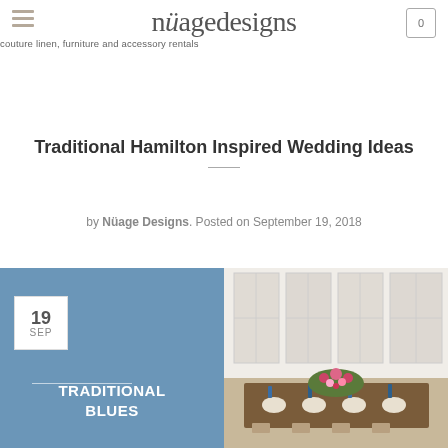nüagedesigns — couture linen, furniture and accessory rentals
Inspiration
Traditional Hamilton Inspired Wedding Ideas
by Nüage Designs. Posted on September 19, 2018
[Figure (photo): Left panel: blue background with date badge showing 19 SEP, a white divider line, and text TRADITIONAL BLUES. Right panel: photo of an elegant dining room with large windows and a flower-decorated table set with blue candles and glassware.]